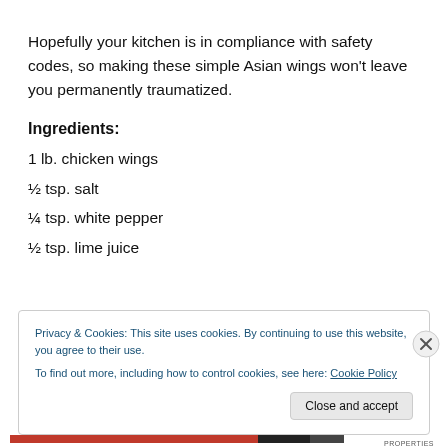Hopefully your kitchen is in compliance with safety codes, so making these simple Asian wings won’t leave you permanently traumatized.
Ingredients:
1 lb. chicken wings
½ tsp. salt
¼ tsp. white pepper
½ tsp. lime juice
Privacy & Cookies: This site uses cookies. By continuing to use this website, you agree to their use.
To find out more, including how to control cookies, see here: Cookie Policy